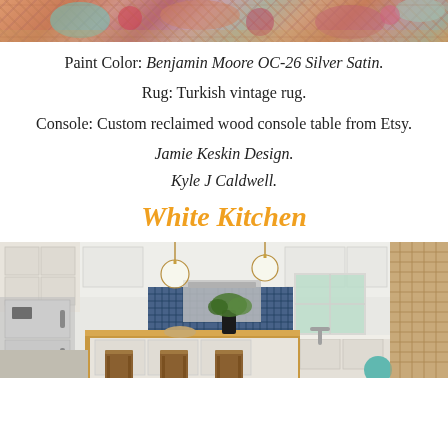[Figure (photo): Close-up of a colorful Turkish vintage rug with floral and geometric patterns in red, teal, pink, and gold tones]
Paint Color: Benjamin Moore OC-26 Silver Satin.
Rug: Turkish vintage rug.
Console: Custom reclaimed wood console table from Etsy.
Jamie Keskin Design.
Kyle J Caldwell.
White Kitchen
[Figure (photo): Bright white kitchen with wood island, blue mosaic tile backsplash, brass pendant lights with globe shades, stainless steel refrigerator, wood stools with leather seats, and potted plants on island]